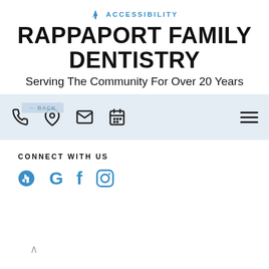♿ ACCESSIBILITY
RAPPAPORT FAMILY DENTISTRY
Serving The Community For Over 20 Years
[Figure (screenshot): Navigation bar with phone, location, mail, and calendar icons on left; hamburger menu icon on right; light blue background; 'BACK' label overlay]
CONNECT WITH US
[Figure (infographic): Social media icons row: Yelp, Google, Facebook, Instagram — all in blue]